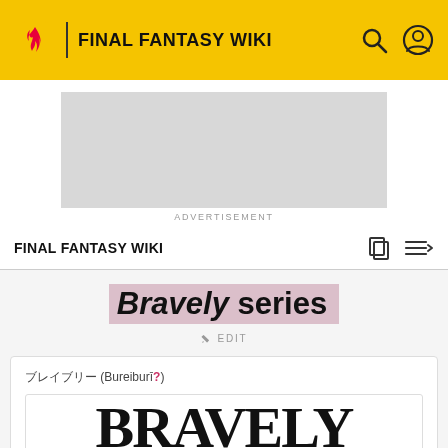FINAL FANTASY WIKI
[Figure (other): Advertisement placeholder box]
ADVERTISEMENT
FINAL FANTASY WIKI
Bravely series
EDIT
ブレイブリー (Bureiburī?)
[Figure (logo): Bravely series logo showing large serif text BRAVELY]